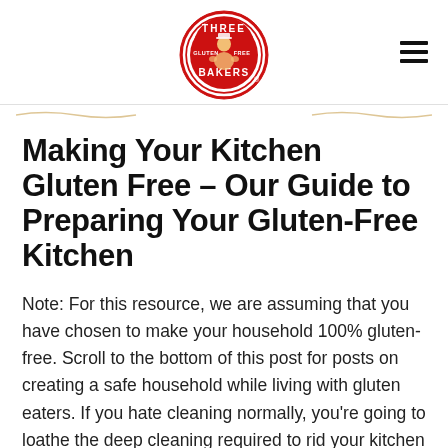[Figure (logo): Three Bakers Gluten Free circular red logo with baker illustration]
Making Your Kitchen Gluten Free – Our Guide to Preparing Your Gluten-Free Kitchen
Note: For this resource, we are assuming that you have chosen to make your household 100% gluten-free. Scroll to the bottom of this post for posts on creating a safe household while living with gluten eaters. If you hate cleaning normally, you're going to loathe the deep cleaning required to rid your kitchen of gluten. [...]